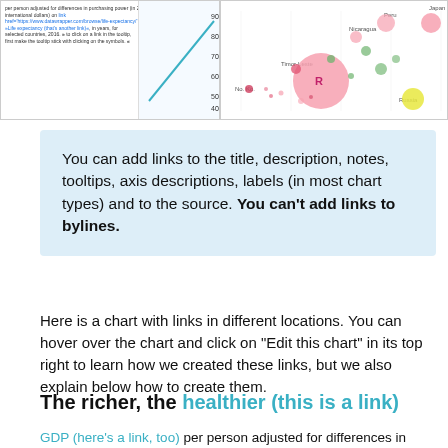[Figure (screenshot): Left: Screenshot of a chart editor with code/text showing link syntax for life expectancy tooltip. Right: Bubble chart showing GDP vs life expectancy by country with colored bubbles of varying sizes, countries labeled including Japan, Peru, Nicaragua, Timor-Leste, Korea, Russia.]
You can add links to the title, description, notes, tooltips, axis descriptions, labels (in most chart types) and to the source. You can't add links to bylines.
Here is a chart with links in different locations. You can hover over the chart and click on "Edit this chart" in its top right to learn how we created these links, but we also explain below how to create them.
The richer, the healthier (this is a link)
GDP (here's a link, too) per person adjusted for differences in purchasing power (in 2011 international dollars) and life